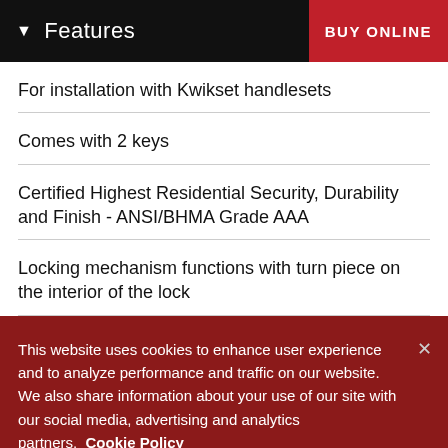Features | BUY ONLINE
For installation with Kwikset handlesets
Comes with 2 keys
Certified Highest Residential Security, Durability and Finish - ANSI/BHMA Grade AAA
Locking mechanism functions with turn piece on the interior of the lock
This website uses cookies to enhance user experience and to analyze performance and traffic on our website. We also share information about your use of our site with our social media, advertising and analytics partners.  Cookie Policy
Cookie Settings   Accept Cookies